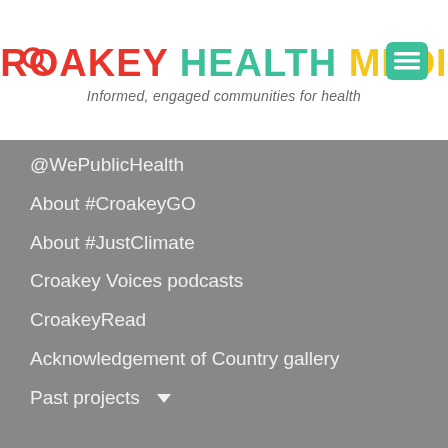CROAKEY HEALTH MEDIA — Informed, engaged communities for health
@WePublicHealth
About #CroakeyGO
About #JustClimate
Croakey Voices podcasts
CroakeyRead
Acknowledgement of Country gallery
Past projects
Testimonials